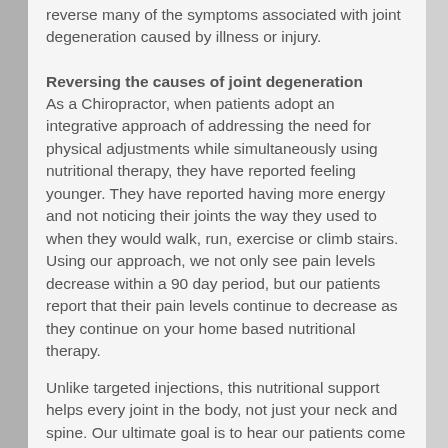reverse many of the symptoms associated with joint degeneration caused by illness or injury.
Reversing the causes of joint degeneration
As a Chiropractor, when patients adopt an integrative approach of addressing the need for physical adjustments while simultaneously using nutritional therapy, they have reported feeling younger. They have reported having more energy and not noticing their joints the way they used to when they would walk, run, exercise or climb stairs. Using our approach, we not only see pain levels decrease within a 90 day period, but our patients report that their pain levels continue to decrease as they continue on your home based nutritional therapy.
Unlike targeted injections, this nutritional support helps every joint in the body, not just your neck and spine. Our ultimate goal is to hear our patients come into the office for a maintenance appointment while telling us how much their mobility and range of motion has